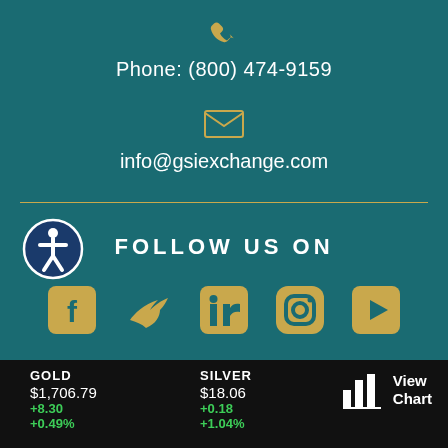[Figure (illustration): Gold phone handset icon in gold/yellow color on teal background]
Phone: (800) 474-9159
[Figure (illustration): Envelope/email icon outline in gold on teal background]
info@gsiexchange.com
[Figure (illustration): Accessibility icon - person in circle with white background and dark teal border]
FOLLOW US ON
[Figure (illustration): Social media icons row: Facebook, Twitter, LinkedIn, Instagram, YouTube - all in gold/amber color]
GOLD
$1,706.79
+8.30
+0.49%
SILVER
$18.06
+0.18
+1.04%
View Chart